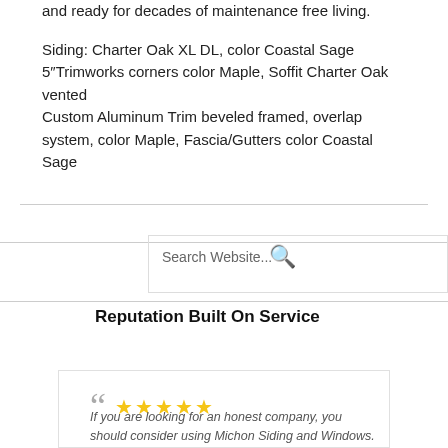and ready for decades of maintenance free living.

Siding: Charter Oak XL DL, color Coastal Sage
5"Trimworks corners color Maple, Soffit Charter Oak vented
Custom Aluminum Trim beveled framed, overlap system, color Maple, Fascia/Gutters color Coastal Sage
Search Website...
Reputation Built On Service
If you are looking for an honest company, you should consider using Michon Siding and Windows. Cassey was recommended to me due to his honesty. I